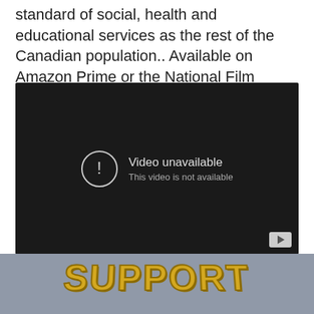standard of social, health and educational services as the rest of the Canadian population.. Available on Amazon Prime or the National Film Board.
[Figure (screenshot): Embedded YouTube video player showing 'Video unavailable - This video is not available' error message on a dark background, with a YouTube play button icon in the bottom-right corner.]
[Figure (illustration): Curved/arched yellow bold text reading 'SUPPORT' on a grey-blue background, styled like a logo badge.]